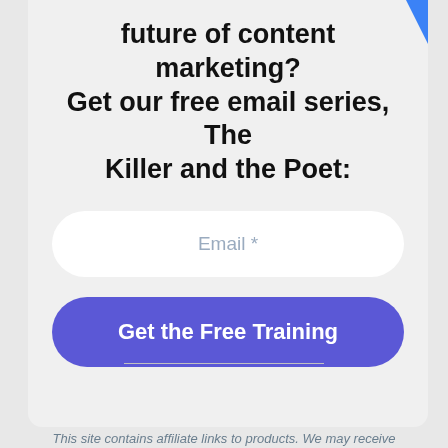future of content marketing? Get our free email series, The Killer and the Poet:
Email *
Get the Free Training
This site contains affiliate links to products. We may receive